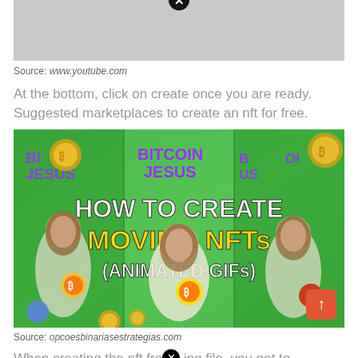[Figure (screenshot): Gray placeholder image with close button at top]
Source: www.youtube.com
At the bottom, click on create once you are ready. Suggested marketplaces to create an nft for free.
[Figure (screenshot): Bitcoin Jesus NFT thumbnail showing 'HOW TO CREATE MOVING NFTs (ANIMATED GIFs)' with illustrated Jesus figures and crypto coins on green background]
Source: opcoesbinariasestrategias.com
When creating the nft from a jpg file, you get to